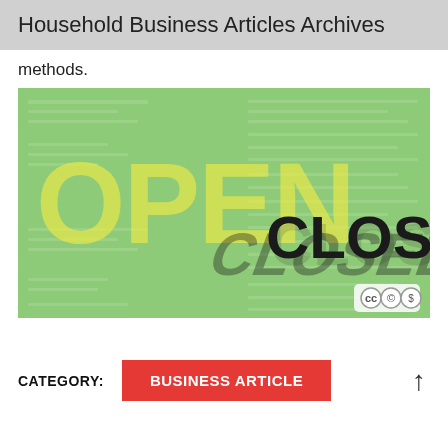Household Business Articles Archives
methods.
[Figure (photo): Image showing the words OPEN in large yellow letters in the background and CLOSED in large dark 3D letters in the foreground, overlaid on a green background with document text visible. A Creative Commons license badge appears in the bottom right corner.]
CATEGORY:
BUSINESS ARTICLE